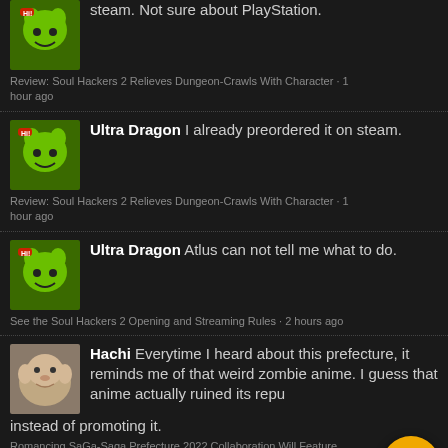steam. Not sure about PlayStation.
Review: Soul Hackers 2 Relieves Dungeon-Crawls With Character · 1 hour ago
Ultra Dragon I already preordered it on steam.
Review: Soul Hackers 2 Relieves Dungeon-Crawls With Character · 1 hour ago
Ultra Dragon Atlus can not tell me what to do.
See the Soul Hackers 2 Opening and Streaming Rules · 2 hours ago
Hachi Everytime I heard about this prefecture, it reminds me of that weird zombie anime. I guess that anime actually ruined its reputation instead of promoting it.
Romancing SaGa-Saga Prefecture 2022 Collaboration Will Feature Trains · 3 hours ago
OKeijiDragon He owns the rights to the English translations to those games, believe it or not. This supposedly gives substantial clues…